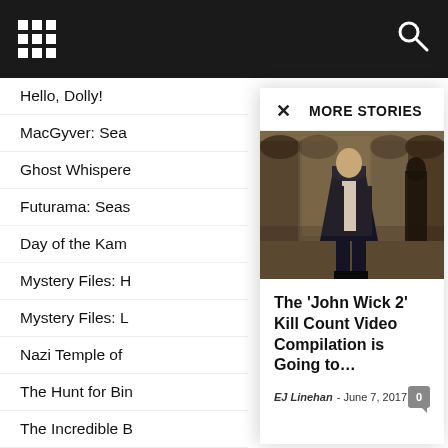[Figure (screenshot): Dark top navigation bar with 3x3 grid icon on left and search icon on right]
Hello, Dolly!
MacGyver: Sea
Ghost Whisper
Futurama: Seas
Day of the Kam
Mystery Files: H
Mystery Files: L
Nazi Temple of
The Hunt for Bin
The Incredible B
History in HD: T
Secrets: A Vikin
Secrets: Richar
Shuttle Discove
Titanic's Final M
Samurai Headhunters
America's Secret D-Day Disaster
[Figure (screenshot): MORE STORIES modal panel with X close button and a photo of a man in a suit (John Wick character) walking through arched corridor]
The ‘John Wick 2’ Kill Count Video Compilation is Going to…
EJ Linehan - June 7, 2017